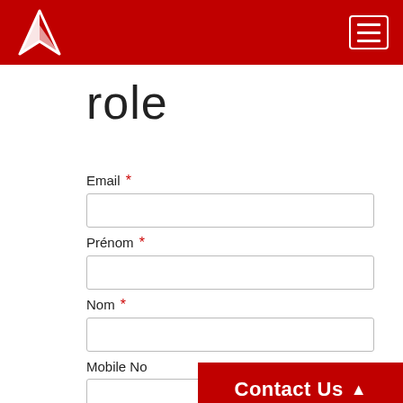[Figure (logo): White triangular/arrow logo on dark red background header bar with hamburger menu icon]
role
Email *
Prénom *
Nom *
Mobile No
Contact Us ▲